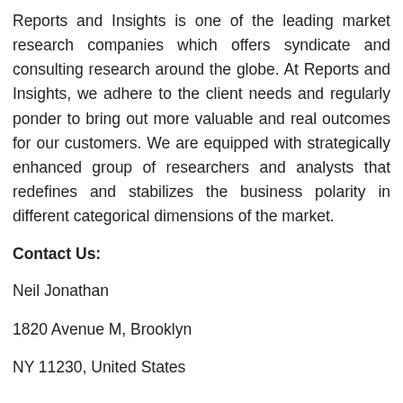Reports and Insights is one of the leading market research companies which offers syndicate and consulting research around the globe. At Reports and Insights, we adhere to the client needs and regularly ponder to bring out more valuable and real outcomes for our customers. We are equipped with strategically enhanced group of researchers and analysts that redefines and stabilizes the business polarity in different categorical dimensions of the market.
Contact Us:
Neil Jonathan
1820 Avenue M, Brooklyn
NY 11230, United States